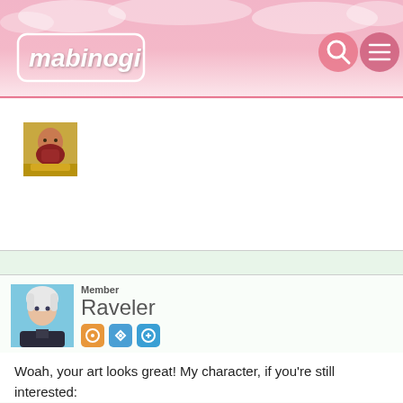[Figure (screenshot): Mabinogi website header with pink gradient background, Mabinogi logo on left, search and menu icons on right]
[Figure (photo): Original poster's character avatar - fantasy style character with red/brown beard and golden armor]
[Figure (photo): Reply poster avatar - anime style character with white/silver hair on blue background]
Member
Raveler
Mabinogi Rep: 650
Posts: 11
DECEMBER 17, 2020
Woah, your art looks great! My character, if you're still interested: